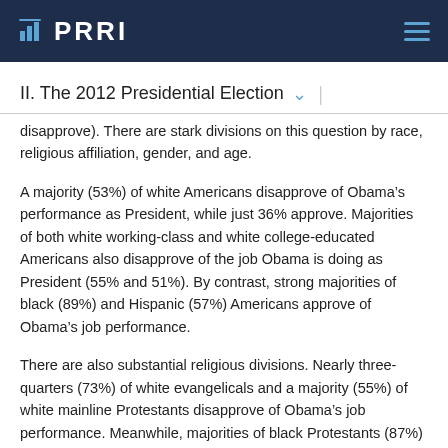PRRI
II. The 2012 Presidential Election
disapprove). There are stark divisions on this question by race, religious affiliation, gender, and age.
A majority (53%) of white Americans disapprove of Obama’s performance as President, while just 36% approve. Majorities of both white working-class and white college-educated Americans also disapprove of the job Obama is doing as President (55% and 51%). By contrast, strong majorities of black (89%) and Hispanic (57%) Americans approve of Obama’s job performance.
There are also substantial religious divisions. Nearly three-quarters (73%) of white evangelicals and a majority (55%) of white mainline Protestants disapprove of Obama’s job performance. Meanwhile, majorities of black Protestants (87%) and the religiously unaffiliated (61%) approve of his job performance. Catholics are evenly divided (43%...